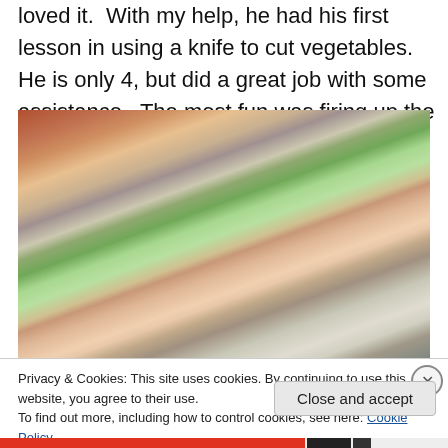loved it. With my help, he had his first lesson in using a knife to cut vegetables. He is only 4, but did a great job with some assistance. The most fun was firing up the stove and adding the vegetables one by one.
[Figure (photo): A young child wearing a frog apron reaching into a pot or pan on a kitchen stove, smiling]
Privacy & Cookies: This site uses cookies. By continuing to use this website, you agree to their use.
To find out more, including how to control cookies, see here: Cookie Policy